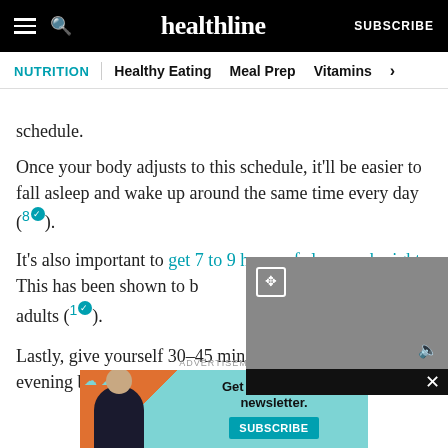healthline | NUTRITION | Healthy Eating | Meal Prep | Vitamins
schedule.
Once your body adjusts to this schedule, it’ll be easier to fall asleep and wake up around the same time every day (8).
It’s also important to get 7 to 9 hours of sleep each night. This has been shown to b[e the optimal sleep] duration for adults (1).
Lastly, give yourself 30–45 min[utes to wind down in] the evening before getting in b[ed].
[Figure (screenshot): Video player overlay with gray background, expand icon top-left, mute icon bottom-right, black close bar with X]
ADVERTISEMENT
[Figure (infographic): Healthline newsletter subscription advertisement banner with teal background, illustrated woman figure, clouds, and Subscribe button]